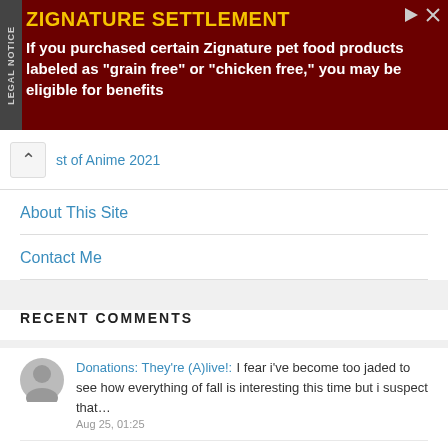[Figure (other): Legal notice advertisement for Zignature Settlement. Dark red background. Text: ZIGNATURE SETTLEMENT. If you purchased certain Zignature pet food products labeled as "grain free" or "chicken free," you may be eligible for benefits]
st of Anime 2021
About This Site
Contact Me
RECENT COMMENTS
Donations: They're (A)live!: I fear i've become too jaded to see how everything of fall is interesting this time but i suspect that…
Aug 25, 01:25
Kinsou no Vermeil – 08: Sooo, lets sum up: Regarding Iolite and his companions, there are no less than 3 platinum squares – and so…
Aug 24, 23:27